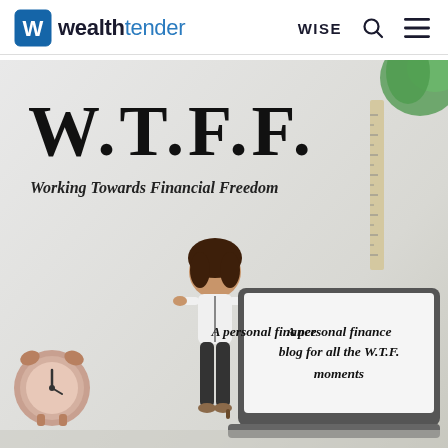wealthtender — WISE
[Figure (illustration): W.T.F.F. (Working Towards Financial Freedom) personal finance blog banner image featuring bold serif text 'W.T.F.F.' with subtitle 'Working Towards Financial Freedom', a cartoon female figure, a laptop displaying 'A personal finance blog for all the W.T.F. moments', an alarm clock, a ruler, and a green plant in the corner, all on a light gray background.]